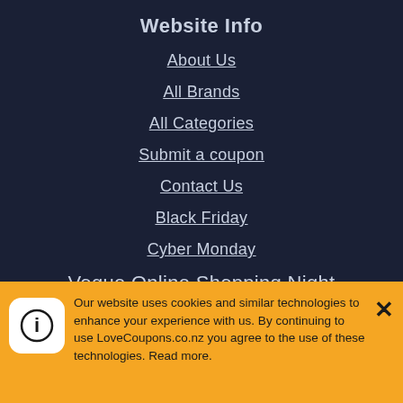Website Info
About Us
All Brands
All Categories
Submit a coupon
Contact Us
Black Friday
Cyber Monday
Vogue Online Shopping Night
Legal Info
Our website uses cookies and similar technologies to enhance your experience with us. By continuing to use LoveCoupons.co.nz you agree to the use of these technologies. Read more.